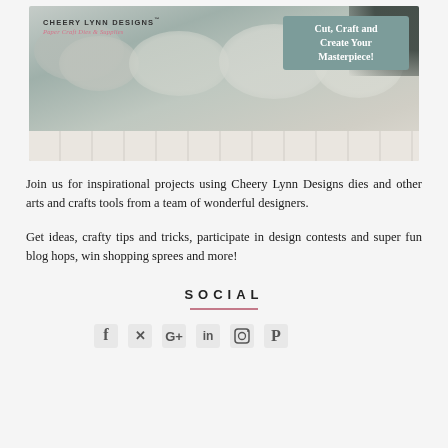[Figure (photo): Cheery Lynn Designs banner image with floral/botanical arrangement in muted gray-green tones, white wood plank background at bottom. Logo top-left reads 'CHEERY LYNN DESIGNS / Paper Craft Dies & Supplies'. Sign top-right reads 'Cut, Craft and Create Your Masterpiece!']
Join us for inspirational projects using Cheery Lynn Designs dies and other arts and crafts tools from a team of wonderful designers.
Get ideas, crafty tips and tricks, participate in design contests and super fun blog hops, win shopping sprees and more!
SOCIAL
[Figure (illustration): Social media icons row: Facebook, Twitter/X, Google+, LinkedIn, Instagram (camera), Pinterest]